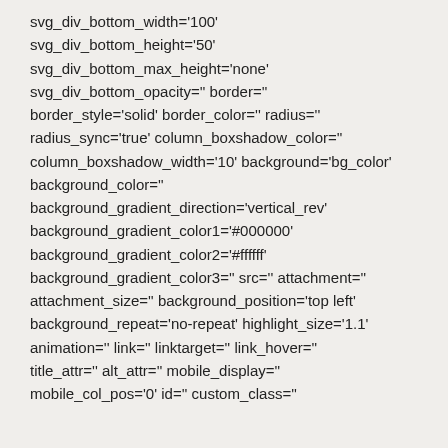svg_div_bottom_width='100'
svg_div_bottom_height='50'
svg_div_bottom_max_height='none'
svg_div_bottom_opacity='' border=''
border_style='solid' border_color='' radius=''
radius_sync='true' column_boxshadow_color=''
column_boxshadow_width='10' background='bg_color'
background_color=''
background_gradient_direction='vertical_rev'
background_gradient_color1='#000000'
background_gradient_color2='#ffffff'
background_gradient_color3='' src='' attachment=''
attachment_size='' background_position='top left'
background_repeat='no-repeat' highlight_size='1.1'
animation='' link='' linktarget='' link_hover=''
title_attr='' alt_attr='' mobile_display=''
mobile_col_pos='0' id='' custom_class=''